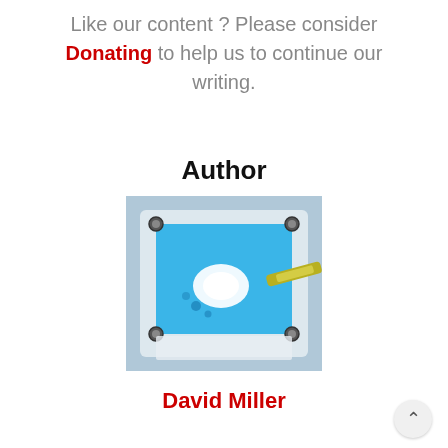Like our content ? Please consider Donating to help us to continue our writing.
Author
[Figure (photo): Overhead photo of a laboratory or engineering setup showing a blue liquid-filled container with metallic fasteners at corners and a bright light source or reaction in the center, with a metallic tool or pen approaching from the right.]
David Miller